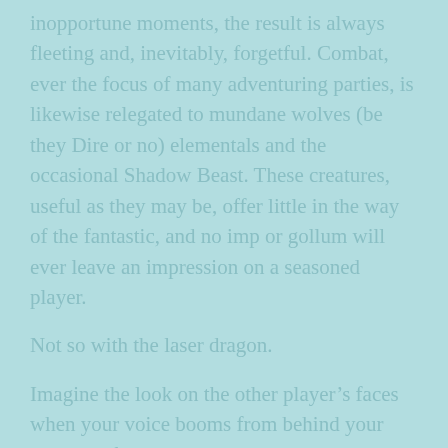inopportune moments, the result is always fleeting and, inevitably, forgetful. Combat, ever the focus of many adventuring parties, is likewise relegated to mundane wolves (be they Dire or no) elementals and the occasional Shadow Beast. These creatures, useful as they may be, offer little in the way of the fantastic, and no imp or gollum will ever leave an impression on a seasoned player.
Not so with the laser dragon.
Imagine the look on the other player’s faces when your voice booms from behind your rampart of the GM screen to announce that a mythical creature (that exists in no Monster Manual, I assure you!) has entered the fray on the party’s behalf. Consider the grandeur